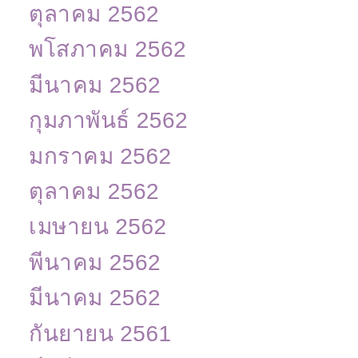□□□□□□ 2562
□□□□□□ 2562
□□□□□□□ 2562
□□□□□□ 2562
□□□□□□□ 2562
□□□□□□ 2562
□□□□□ 2562
□□□□□□□ 2562
□□□□□□ 2562
□□□□□□ 2561
□□□□□□□□ 2561
□□□□□ 2561
□□□□□□ 2561